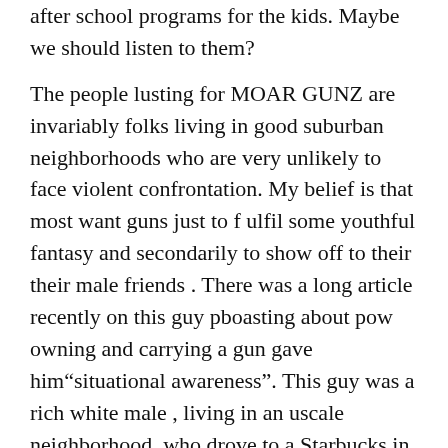after school programs for the kids. Maybe we should listen to them?
The people lusting for MOAR GUNZ are invariably folks living in good suburban neighborhoods who are very unlikely to face violent confrontation. My belief is that most want guns just to f ulfil some youthful fantasy and secondarily to show off to their their male friends . There was a long article recently on this guy pboasting about pow owning and carrying a gun gave him"situational awareness". This guy was a rich white male , living in an uscale neighborhood, who drove to a Starbucks in a Meredes with a gun under his jacket. Excerpt:
He bought his first gun a week before the debut of TheTruthAboutGuns.com. He took a firearms class. He filled out the paperwork and went through the background check to get a permit to carry a gun. He now owns 18 guns.
“Once you put a gun on, you gain situational